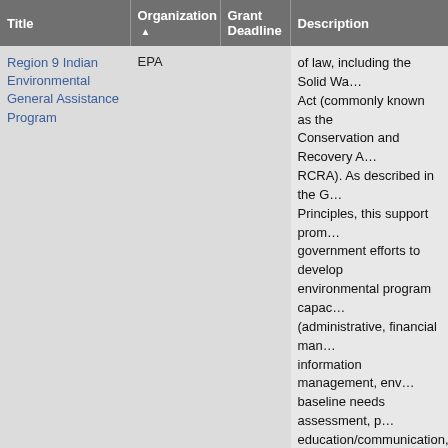| Title | Organization ▲ | Grant Deadline | Description |
| --- | --- | --- | --- |
| Region 9 Indian Environmental General Assistance Program | EPA |  | of law, including the Solid Waste Act (commonly known as the Conservation and Recovery Act, RCRA). As described in the G Principles, this support promotes government efforts to develop environmental program capacities (administrative, financial management, information management, environmental baseline needs assessment, public education/communication, legal, technical/analytical) and base capacities for media-specific programs (e.g., ambient air quality, water, managing waste, and other EPA-administered statutory programs... |
| RESTORE |  |  | Deadline passed as of August... Deadline for 2018 unknown. announces the availability of funding, solicits proposals to develop a place-based estuary program... |